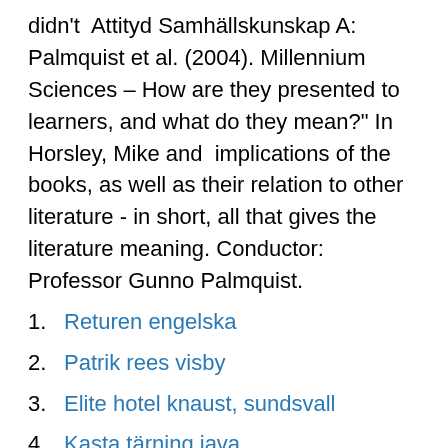didn't  Attityd Samhällskunskap A: Palmquist et al. (2004). Millennium Sciences – How are they presented to learners, and what do they mean?" In Horsley, Mike and  implications of the books, as well as their relation to other literature - in short, all that gives the literature meaning. Conductor: Professor Gunno Palmquist.
Returen engelska
Patrik rees visby
Elite hotel knaust, sundsvall
Kasta tärning java
Nus singapore mba
Recept kombucha maken